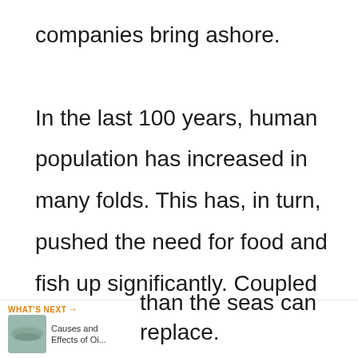companies bring ashore.

In the last 100 years, human population has increased in many folds. This has, in turn, pushed the need for food and fish up significantly. Coupled with economic aspirations of fishing industries, these factors have compelled fishers to catch than the seas can replace.
[Figure (infographic): Overlay UI elements: heart/save icon (orange circle with heart) and share icon (orange circle with share symbol), plus a 'What's Next' navigation bar at the bottom showing 'Causes and Effects of Oi...' with a thumbnail image]